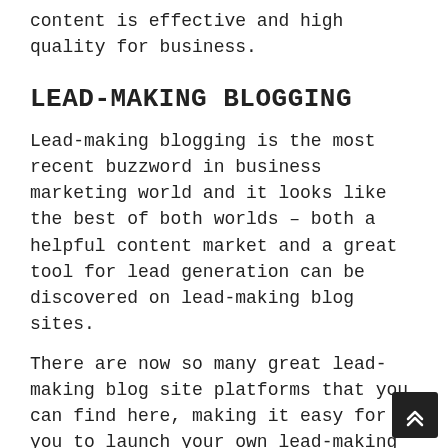content is effective and high quality for business.
LEAD-MAKING BLOGGING
Lead-making blogging is the most recent buzzword in business marketing world and it looks like the best of both worlds – both a helpful content market and a great tool for lead generation can be discovered on lead-making blog sites.
There are now so many great lead-making blog site platforms that you can find here, making it easy for you to launch your own lead-making blog.
CONTENT MARKETING TOOLS AND SERVICES
Content marketing is a fantastic method to get your company on the best side of the fence and there are an entire series of tools you can use for material marketing that should be considered as it is with